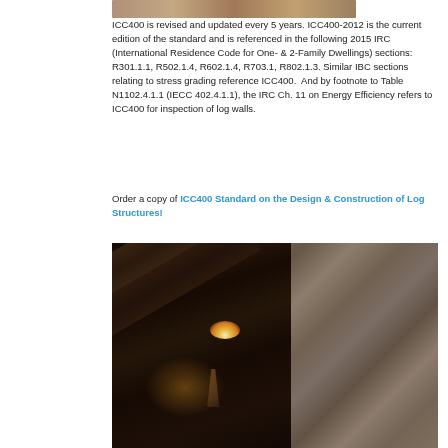[Figure (photo): Partial view of a log structure or wooden scene at the top of the page]
ICC400 is revised and updated every 5 years. ICC400-2012 is the current edition of the standard and is referenced in the following 2015 IRC (International Residence Code for One- & 2-Family Dwellings) sections: R301.1.1, R502.1.4, R602.1.4, R703.1, R802.1.3. Similar IBC sections relating to stress grading reference ICC400.  And by footnote to Table N1102.4.1.1 (IECC 402.4.1.1), the IRC Ch. 11 on Energy Efficiency refers to ICC400 for inspection of log walls.
Order a copy of ICC400 Standard on the Design & Construction of Log Structures!
[Figure (photo): Interior photo of a log structure showing wooden beams, candles with flame, and stone wall in dark warm tones]